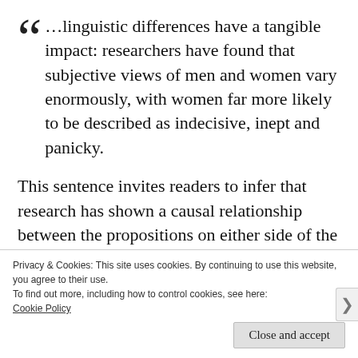…linguistic differences have a tangible impact: researchers have found that subjective views of men and women vary enormously, with women far more likely to be described as indecisive, inept and panicky.
This sentence invites readers to infer that research has shown a causal relationship between the propositions on either side of the
Privacy & Cookies: This site uses cookies. By continuing to use this website, you agree to their use.
To find out more, including how to control cookies, see here:
Cookie Policy
Close and accept